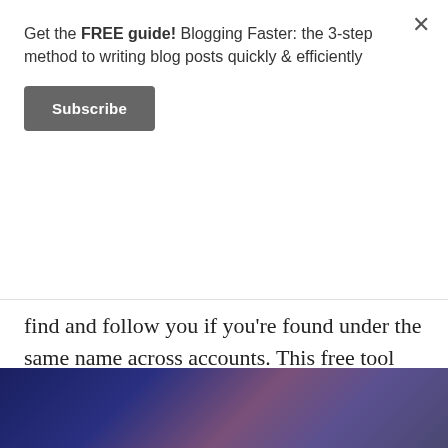Get the FREE guide! Blogging Faster: the 3-step method to writing blog posts quickly & efficiently
Subscribe
find and follow you if you're found under the same name across accounts. This free tool Namechk is really useful to check our blog name ideas on to find out what's available.
[Figure (photo): Blurred dark blue and mauve/purple colored photo, partial view of a person or object in dim lighting]